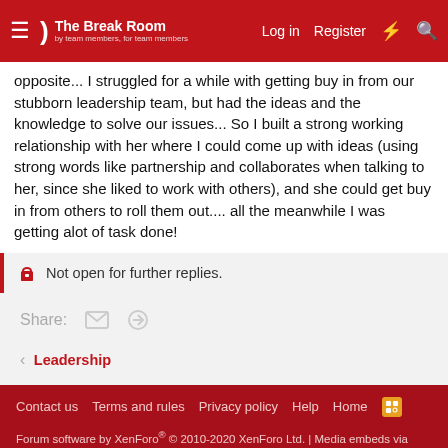The Break Room — Log in | Register
opposite... I struggled for a while with getting buy in from our stubborn leadership team, but had the ideas and the knowledge to solve our issues... So I built a strong working relationship with her where I could come up with ideas (using strong words like partnership and collaborates when talking to her, since she liked to work with others), and she could get buy in from others to roll them out.... all the meanwhile I was getting alot of task done!
Not open for further replies.
Share:
Leadership
Contact us   Terms and rules   Privacy policy   Help   Home
Forum software by XenForo® © 2010-2020 XenForo Ltd. | Media embeds via s9e/MediaSites
Discord Integration © Jason Axelrod of 8WAYRUN